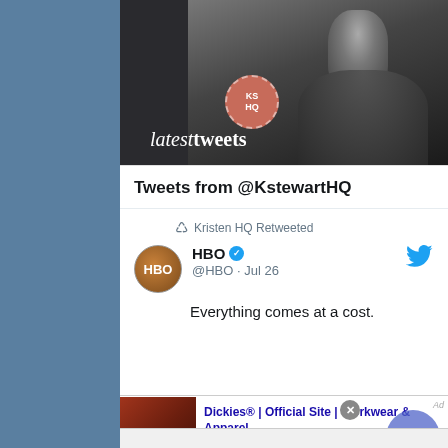[Figure (screenshot): Left sidebar with steel blue/slate background color]
[Figure (screenshot): Hero banner showing dark background with a person's face, KSHQ badge logo, and 'latest tweets' text in italic serif font]
Tweets from @KstewartHQ
Kristen HQ Retweeted
HBO @HBO · Jul 26
Everything comes at a cost.
[Figure (screenshot): Advertisement bar: Dickies® | Official Site | Workwear & Apparel - for work pants, work shirts, overalls, and coveralls. www.dickies.com]